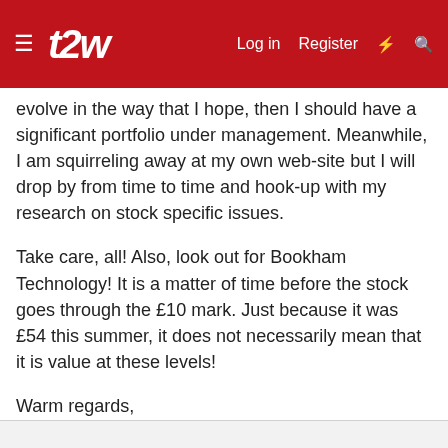t2w — Log in  Register
evolve in the way that I hope, then I should have a significant portfolio under management. Meanwhile, I am squirreling away at my own web-site but I will drop by from time to time and hook-up with my research on stock specific issues.
Take care, all! Also, look out for Bookham Technology! It is a matter of time before the stock goes through the £10 mark. Just because it was £54 this summer, it does not necessarily mean that it is value at these levels!
Warm regards,
David
antny
Junior member